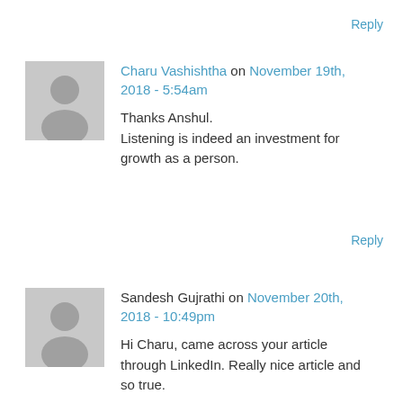Reply
Charu Vashishtha on November 19th, 2018 - 5:54am
Thanks Anshul.
Listening is indeed an investment for growth as a person.
Reply
Sandesh Gujrathi on November 20th, 2018 - 10:49pm
Hi Charu, came across your article through LinkedIn. Really nice article and so true.